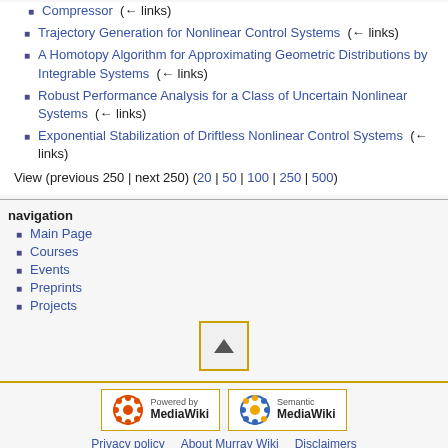Compressor  (← links)
Trajectory Generation for Nonlinear Control Systems  (← links)
A Homotopy Algorithm for Approximating Geometric Distributions by Integrable Systems  (← links)
Robust Performance Analysis for a Class of Uncertain Nonlinear Systems  (← links)
Exponential Stabilization of Driftless Nonlinear Control Systems  (← links)
View (previous 250 | next 250) (20 | 50 | 100 | 250 | 500)
navigation
Main Page
Courses
Events
Preprints
Projects
[Figure (other): Scroll to top button with upward triangle arrow inside a yellow-bordered box]
[Figure (logo): Powered by MediaWiki logo]
[Figure (logo): Semantic MediaWiki logo]
Privacy policy   About Murray Wiki   Disclaimers